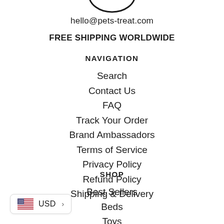[Figure (logo): Partial logo image at top, circular shape partially visible]
hello@pets-treat.com
FREE SHIPPING WORLDWIDE
NAVIGATION
Search
Contact Us
FAQ
Track Your Order
Brand Ambassadors
Terms of Service
Privacy Policy
Refund Policy
Shipping & Delivery
SHOP
Best Sellers
Beds
Toys
Grooming
[Figure (other): USD currency selector widget with US flag icon and arrow]